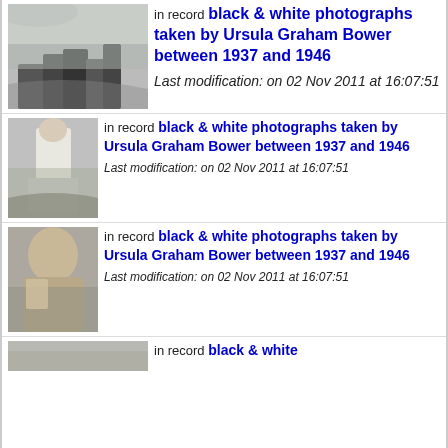[Figure (photo): Black and white photograph showing a group of people outdoors near water, appears to be historical]
in record black & white photographs taken by Ursula Graham Bower between 1937 and 1946
Last modification: on 02 Nov 2011 at 16:07:51
[Figure (photo): Black and white photograph showing a person standing outdoors in a field]
in record black & white photographs taken by Ursula Graham Bower between 1937 and 1946
Last modification: on 02 Nov 2011 at 16:07:51
[Figure (photo): Black and white portrait photograph of a man]
in record black & white photographs taken by Ursula Graham Bower between 1937 and 1946
Last modification: on 02 Nov 2011 at 16:07:51
[Figure (photo): Black and white photograph, partially visible at bottom of page]
in record black & white